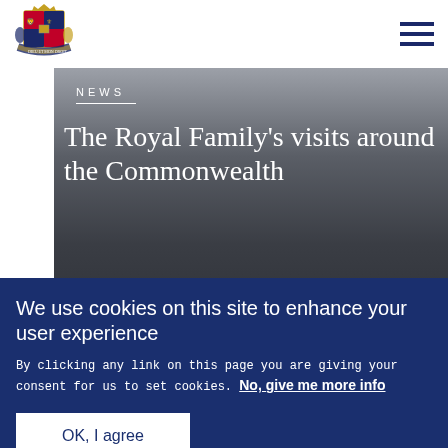The Royal Family website header with logo and navigation
[Figure (logo): Royal Coat of Arms logo - blue and gold heraldic emblem]
NEWS
The Royal Family's visits around the Commonwealth
Published 17 April 2018
We use cookies on this site to enhance your user experience
By clicking any link on this page you are giving your consent for us to set cookies. No, give me more info
OK, I agree